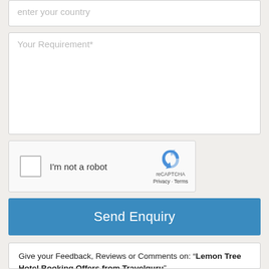enter your country
Your Requirement*
[Figure (other): reCAPTCHA widget with checkbox labeled I'm not a robot, reCAPTCHA logo, Privacy and Terms links]
Send Enquiry
Give your Feedback, Reviews or Comments on: "Lemon Tree Hotel Booking Offers from Travelguru"
Name
Email